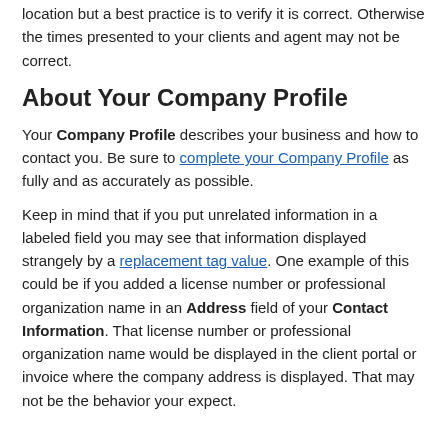location but a best practice is to verify it is correct. Otherwise the times presented to your clients and agent may not be correct.
About Your Company Profile
Your Company Profile describes your business and how to contact you. Be sure to complete your Company Profile as fully and as accurately as possible.
Keep in mind that if you put unrelated information in a labeled field you may see that information displayed strangely by a replacement tag value. One example of this could be if you added a license number or professional organization name in an Address field of your Contact Information. That license number or professional organization name would be displayed in the client portal or invoice where the company address is displayed. That may not be the behavior your expect.